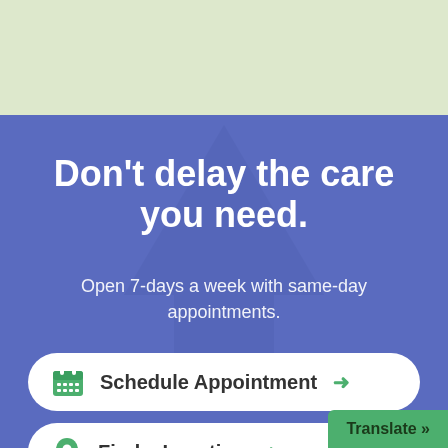[Figure (screenshot): Light green banner at top of page, partial map visible]
Don't delay the care you need.
Open 7-days a week with same-day appointments.
Schedule Appointment →
Find a Location →
Translate »